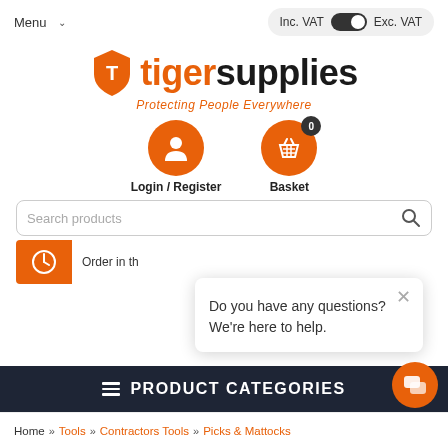Menu  Inc. VAT  Exc. VAT
[Figure (logo): Tiger Supplies logo with orange shield icon and tagline 'Protecting People Everywhere']
[Figure (infographic): Login/Register and Basket icons (orange circles), Basket has a badge showing 0]
Login / Register
Basket
Search products
Order in th
Do you have any questions? We're here to help.
PRODUCT CATEGORIES
Home » Tools » Contractors Tools » Picks & Mattocks